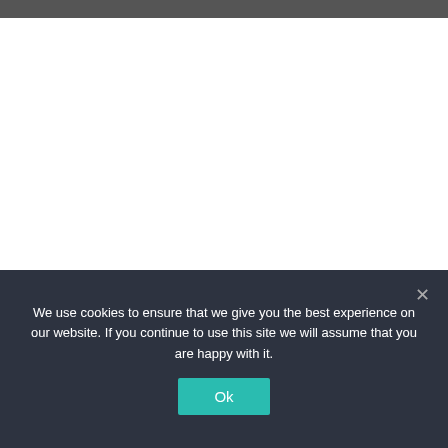What's New
We use cookies to ensure that we give you the best experience on our website. If you continue to use this site we will assume that you are happy with it.